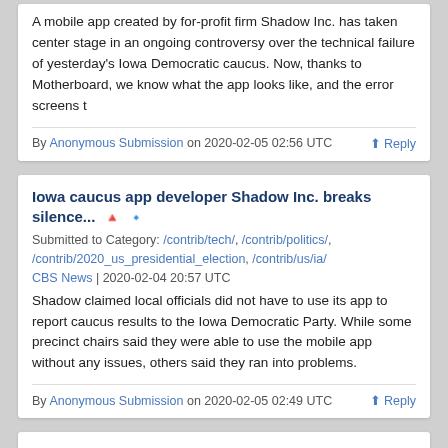A mobile app created by for-profit firm Shadow Inc. has taken center stage in an ongoing controversy over the technical failure of yesterday's Iowa Democratic caucus. Now, thanks to Motherboard, we know what the app looks like, and the error screens t
By Anonymous Submission on 2020-02-05 02:56 UTC  ⬆ Reply
Iowa caucus app developer Shadow Inc. breaks silence...
Submitted to Category: /contrib/tech/, /contrib/politics/, /contrib/2020_us_presidential_election, /contrib/us/ia/
CBS News | 2020-02-04 20:57 UTC
Shadow claimed local officials did not have to use its app to report caucus results to the Iowa Democratic Party. While some precinct chairs said they were able to use the mobile app without any issues, others said they ran into problems.
By Anonymous Submission on 2020-02-05 02:49 UTC  ⬆ Reply
Bernie Sanders Leads Popular Vote in Iowa, but Pete Buttigieg Leads in Delegates...
Submitted to Category: /contrib/US/, /contrib/us/ia/, /contrib/politics/, /contrib/2020_us_presidential_election
Breitbart.com | 2020-02-04 23:32 UTC
Bernie Sanders is leading Pete Buttigieg in the popular vote in the Iowa caucuses -- but losing in delegates, with 62% reporting.